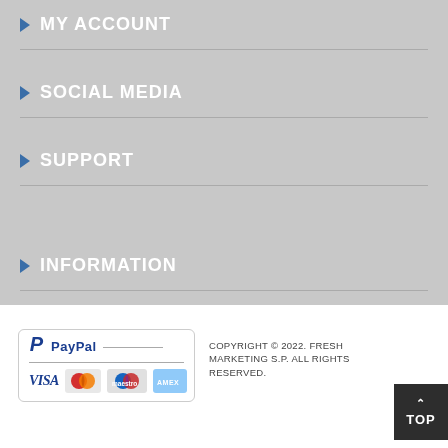MY ACCOUNT
SOCIAL MEDIA
SUPPORT
INFORMATION
[Figure (logo): PayPal accepted payment methods logo showing PayPal wordmark with VISA, MasterCard, Maestro, and American Express card logos]
COPYRIGHT © 2022. FRESH MARKETING S.P. ALL RIGHTS RESERVED.
TOP